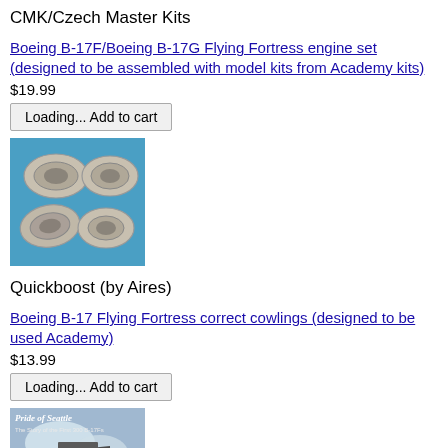CMK/Czech Master Kits
Boeing B-17F/Boeing B-17G Flying Fortress engine set (designed to be assembled with model kits from Academy kits)
$19.99
Loading... Add to cart
[Figure (photo): Four grey resin engine nacelle pieces on a blue background]
Quickboost (by Aires)
Boeing B-17 Flying Fortress correct cowlings (designed to be used Academy)
$13.99
Loading... Add to cart
[Figure (photo): Pride of Seattle book cover showing a B-17 aircraft illustration]